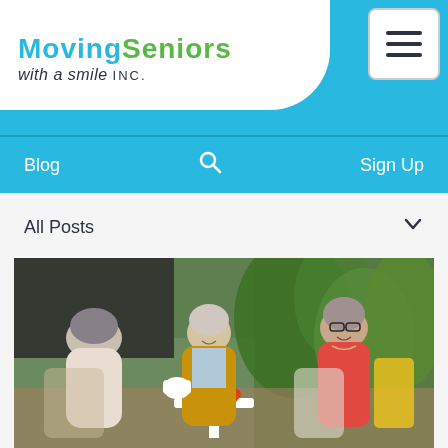[Figure (logo): Moving Seniors with a smile INC. logo with teal and green text on white background with rounded bottom-right corner]
Blog  🔍  Sign Up
All Posts  ∨
[Figure (photo): Three senior women sitting together at a patio table, smiling and conversing. A woman in a mustard yellow cardigan pours tea, another woman in a coral/salmon blouse wears glasses. There are orange flowers on the table and greenery in the background.]